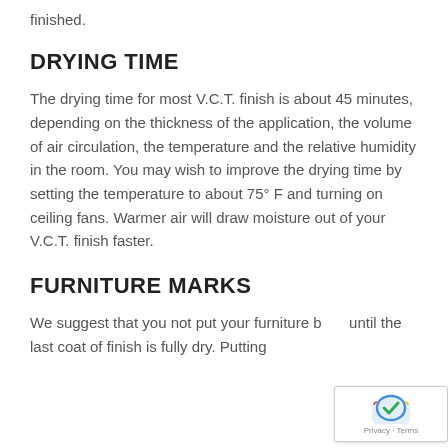finished.
DRYING TIME
The drying time for most V.C.T. finish is about 45 minutes, depending on the thickness of the application, the volume of air circulation, the temperature and the relative humidity in the room. You may wish to improve the drying time by setting the temperature to about 75° F and turning on ceiling fans. Warmer air will draw moisture out of your V.C.T. finish faster.
FURNITURE MARKS
We suggest that you not put your furniture back until the last coat of finish is fully dry. Putting